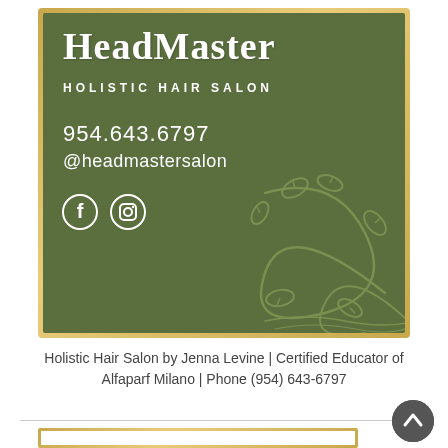[Figure (logo): HeadMaster Holistic Hair Salon business card/logo on an olive green background with gold border. Contains script text 'HeadMaster', subtitle 'HOLISTIC HAIR SALON', phone number 954.643.6797, social handle @headmastersalon, Facebook and Instagram icons, and decorative botanical leaf/swirl design.]
Holistic Hair Salon by Jenna Levine | Certified Educator of Alfaparf Milano | Phone (954) 643-6797
[Figure (illustration): Partial view of another card/image at the bottom of the page, partially cropped.]